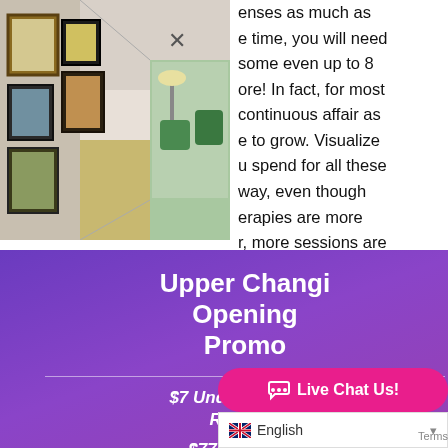[Figure (photo): Interior hallway/gallery with framed artwork on the walls, modern office or salon setting]
enses as much as e time, you will need some even up to 8 ore! In fact, for most continuous affair as e to grow. Visualize u spend for all these way, even though erapies are more r, more sessions are work– and also the also long-term!
hair treatment can session only just 4-6 ery expensive right? emo… needing to get another
Upper Changi Opening Promo
$7 Underarms Hair Removal
$77 Brazilian / Boyzilian Hair Removal
$777 Spend to Earn Future Credits $77 ~
Live Chat Us!
English
Terms